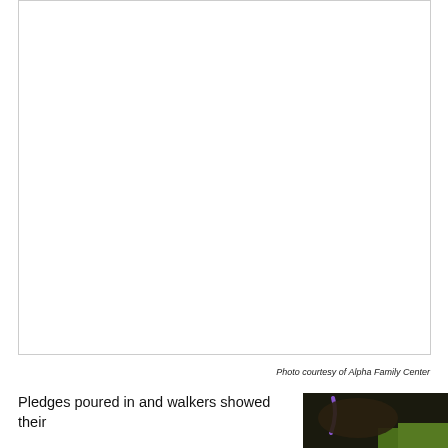[Figure (photo): Large white/blank photo area with a thin border, representing a photo placeholder or partially visible image]
Photo courtesy of Alpha Family Center
Pledges poured in and walkers showed their
[Figure (photo): Small photo in bottom right showing a dark background with green grass and a purple rope/leash visible]